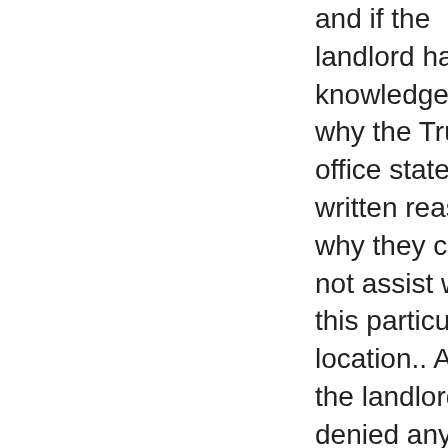and if the landlord had any knowledge of why the Trustees office stated the written reasons why they could not assist with this particular location.. At first, the landlord denied any wrong doing and then he finally admitted to me and my father that he